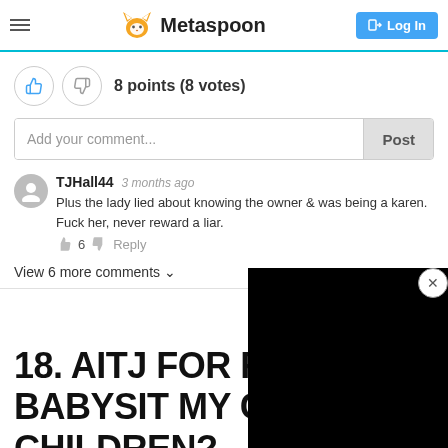Metaspoon
8 points (8 votes)
Add your comment...
TJHall44   3 months ago
Plus the lady lied about knowing the owner & was being a karen. Fuck her, never reward a liar.
6   Reply
View 6 more comments ⌄
18. AITJ FOR REFU... BABYSIT MY COUSIN'S CHILDREN?